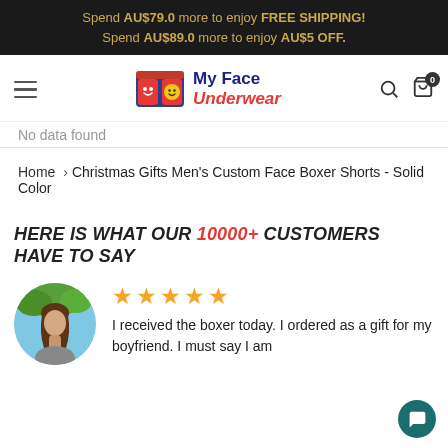Spend AU$79.0 more to enjoy FREE SHIPPING! Spend AU$89.0 more to enjoy AU$5 OFF.
[Figure (logo): My Face Underwear logo with hamburger menu, search and cart icons in navigation bar]
No data found
Home › Christmas Gifts Men's Custom Face Boxer Shorts - Solid Color
HERE IS WHAT OUR 10000+ CUSTOMERS HAVE TO SAY
[Figure (photo): Circular profile photo of a young woman with long brown hair outdoors]
★★★★★
I received the boxer today. I ordered as a gift for my boyfriend. I must say I am